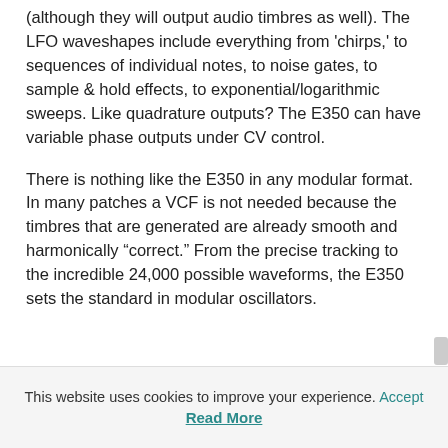(although they will output audio timbres as well). The LFO waveshapes include everything from 'chirps,' to sequences of individual notes, to noise gates, to sample & hold effects, to exponential/logarithmic sweeps. Like quadrature outputs? The E350 can have variable phase outputs under CV control.
There is nothing like the E350 in any modular format. In many patches a VCF is not needed because the timbres that are generated are already smooth and harmonically “correct.” From the precise tracking to the incredible 24,000 possible waveforms, the E350 sets the standard in modular oscillators.
This website uses cookies to improve your experience. Accept
Read More